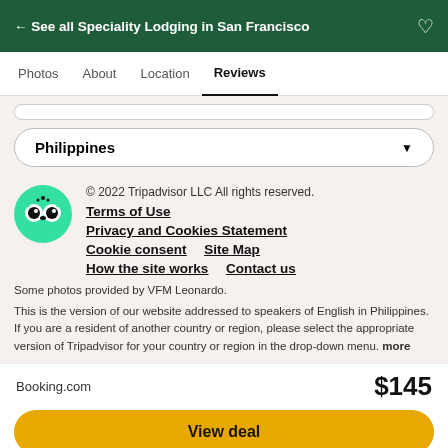← See all Speciality Lodging in San Francisco
Photos   About   Location   Reviews
Philippines
© 2022 Tripadvisor LLC All rights reserved.
Terms of Use
Privacy and Cookies Statement
Cookie consent   Site Map
How the site works   Contact us
Some photos provided by VFM Leonardo.
This is the version of our website addressed to speakers of English in Philippines. If you are a resident of another country or region, please select the appropriate version of Tripadvisor for your country or region in the drop-down menu. more
Booking.com   $145
View deal